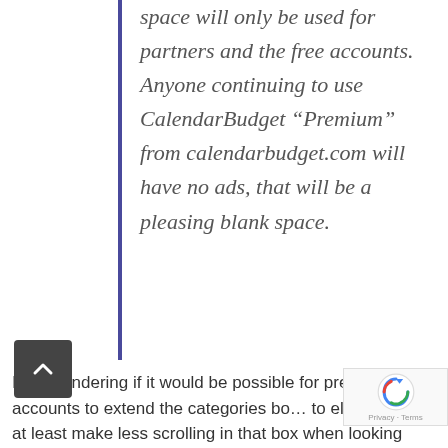space will only be used for partners and the free accounts.  Anyone continuing to use CalendarBudget “Premium” from calendarbudget.com will have no ads, that will be a pleasing blank space.
I am wondering if it would be possible for premium accounts to extend the categories box to eliminate or at least make less scrolling in that box when looking through the